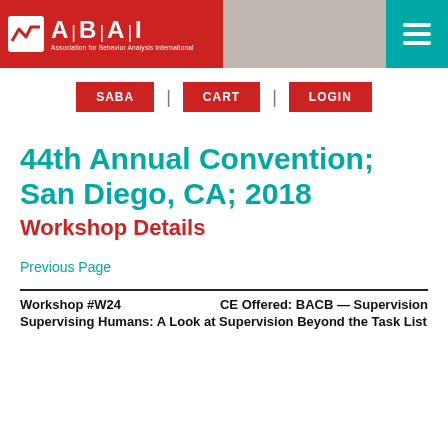ABAI — Association for Behavior Analysis International | SABA | CART | LOGIN
44th Annual Convention; San Diego, CA; 2018
Workshop Details
Previous Page
Workshop #W24    CE Offered: BACB — Supervision
Supervising Humans: A Look at Supervision Beyond the Task List